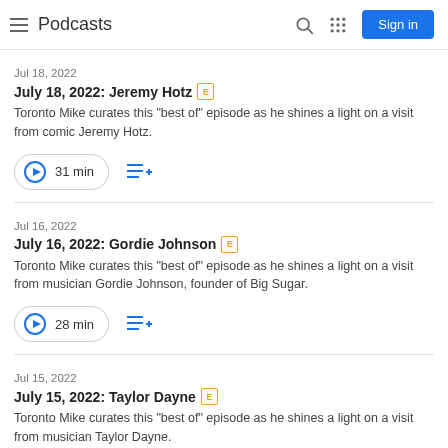Podcasts
Jul 18, 2022
July 18, 2022: Jeremy Hotz [E]
Toronto Mike curates this "best of" episode as he shines a light on a visit from comic Jeremy Hotz.
31 min
Jul 16, 2022
July 16, 2022: Gordie Johnson [E]
Toronto Mike curates this "best of" episode as he shines a light on a visit from musician Gordie Johnson, founder of Big Sugar.
28 min
Jul 15, 2022
July 15, 2022: Taylor Dayne [E]
Toronto Mike curates this "best of" episode as he shines a light on a visit from musician Taylor Dayne.